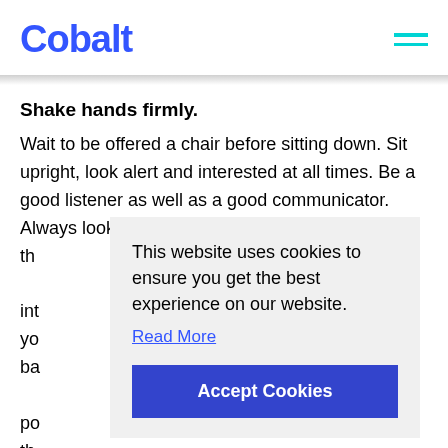Cobalt
Shake hands firmly.
Wait to be offered a chair before sitting down. Sit upright, look alert and interested at all times. Be a good listener as well as a good communicator. Always look the int yo ba po the
This website uses cookies to ensure you get the best experience on our website.
Read More
Accept Cookies